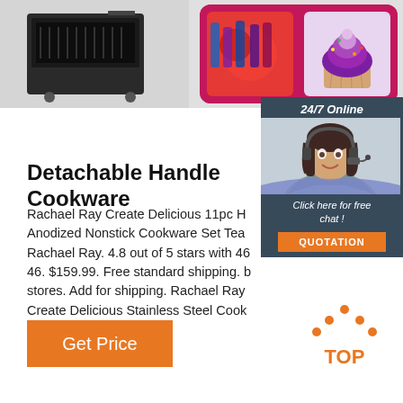[Figure (photo): Top banner with two product images: left shows a black industrial equipment/appliance on a gray background; right shows a pink/magenta collage with food and cupcake images]
[Figure (photo): 24/7 Online chat widget showing a woman with headset and a QUOTATION button]
Detachable Handle Cookware
Rachael Ray Create Delicious 11pc H Anodized Nonstick Cookware Set Tea Rachael Ray. 4.8 out of 5 stars with 46 46. $159.99. Free standard shipping. b stores. Add for shipping. Rachael Ray Create Delicious Stainless Steel Cook Red Handles.
[Figure (other): Orange 'Get Price' button]
[Figure (other): TOP navigation icon with orange dots forming an upward arrow above orange text 'TOP']